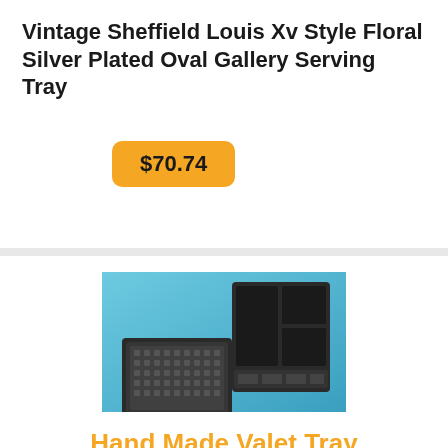Vintage Sheffield Louis Xv Style Floral Silver Plated Oval Gallery Serving Tray
$70.74
[Figure (photo): Product photo of dark gray/black valet tray set on blue background — a flat rectangular tray with textured pattern and a separate upright organizer with three compartments, both appearing to be made of dark resin or metal.]
Hand Made Valet Tray